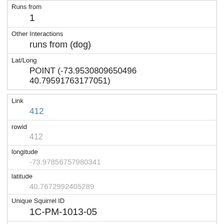| Runs from | 1 |
| Other Interactions | runs from (dog) |
| Lat/Long | POINT (-73.9530809650496 40.79591763177051) |
| Link | 412 |
| rowid | 412 |
| longitude | -73.97856757980341 |
| latitude | 40.7672992405289 |
| Unique Squirrel ID | 1C-PM-1013-05 |
| Hectare | 01C |
| Shift | PM |